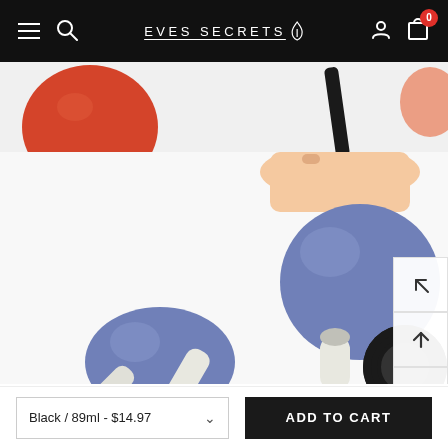EVES SECRETS
[Figure (photo): Screenshot of an e-commerce product page for cleaning bulbs/douche kit. Top navigation bar with hamburger menu, search, brand name EVES SECRETS, user and cart icons on black background. Main area shows blue silicone bulb syringes being held and used, with a top strip showing a red ball and black tube. Side action buttons include expand, scroll up, and camera. Bottom bar shows variant selector 'Black / 89ml - $14.97' with dropdown and black 'ADD TO CART' button.]
Black / 89ml - $14.97
ADD TO CART